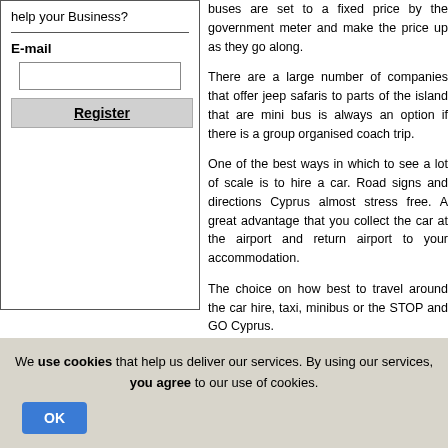help your Business?
E-mail
Register
buses are set to a fixed price by the government meter and make the price up as they go along.
There are a large number of companies that offer jeep safaris to parts of the island that are mini bus is always an option if there is a group organised coach trip.
One of the best ways in which to see a lot of scale is to hire a car. Road signs and directions Cyprus almost stress free. A great advantage is that you collect the car at the airport and return airport to your accommodation.
The choice on how best to travel around the car hire, taxi, minibus or the STOP and GO Cyprus.
The option to use Cyprus Developments to find the right company offering the right service for you.
We use cookies that help us deliver our services. By using our services, you agree to our use of cookies.